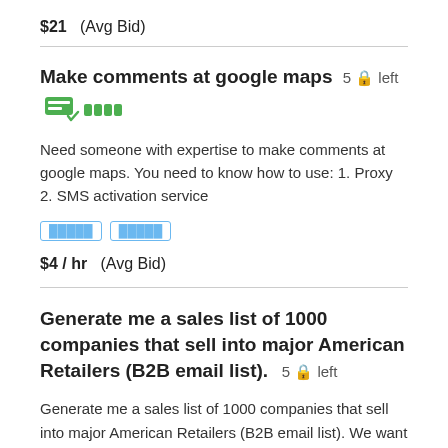$21  (Avg Bid)
Make comments at google maps  5 🔒 left
Need someone with expertise to make comments at google maps. You need to know how to use: 1. Proxy 2. SMS activation service
$4 / hr  (Avg Bid)
Generate me a sales list of 1000 companies that sell into major American Retailers (B2B email list).  5 🔒 left
Generate me a sales list of 1000 companies that sell into major American Retailers (B2B email list). We want a sales list that we can use for email out-bounding. Specifically